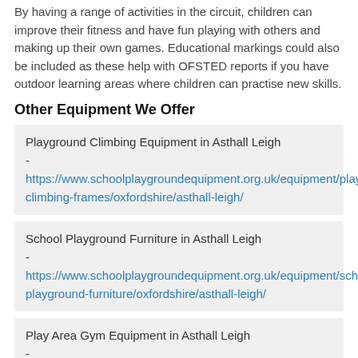By having a range of activities in the circuit, children can improve their fitness and have fun playing with others and making up their own games. Educational markings could also be included as these help with OFSTED reports if you have outdoor learning areas where children can practise new skills.
Other Equipment We Offer
Playground Climbing Equipment in Asthall Leigh - https://www.schoolplaygroundequipment.org.uk/equipment/playground-climbing-frames/oxfordshire/asthall-leigh/
School Playground Furniture in Asthall Leigh - https://www.schoolplaygroundequipment.org.uk/equipment/school-playground-furniture/oxfordshire/asthall-leigh/
Play Area Gym Equipment in Asthall Leigh - https://www.schoolplaygroundequipment.org.uk/equipment/play-area-gym/oxfordshire/asthall-leigh/